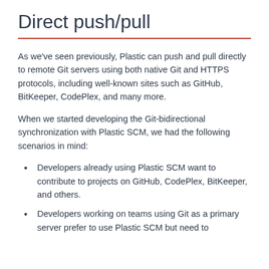Direct push/pull
As we've seen previously, Plastic can push and pull directly to remote Git servers using both native Git and HTTPS protocols, including well-known sites such as GitHub, BitKeeper, CodePlex, and many more.
When we started developing the Git-bidirectional synchronization with Plastic SCM, we had the following scenarios in mind:
Developers already using Plastic SCM want to contribute to projects on GitHub, CodePlex, BitKeeper, and others.
Developers working on teams using Git as a primary server prefer to use Plastic SCM but need to